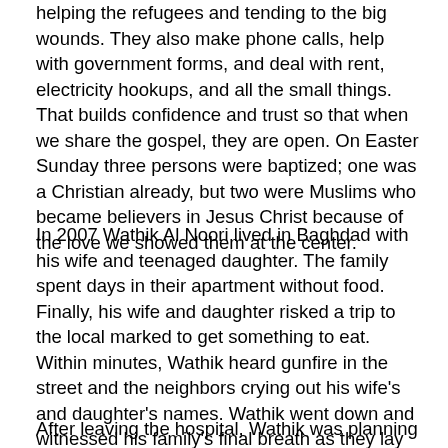helping the refugees and tending to the big wounds. They also make phone calls, help with government forms, and deal with rent, electricity hookups, and all the small things. That builds confidence and trust so that when we share the gospel, they are open. On Easter Sunday three persons were baptized; one was a Christian already, but two were Muslims who became believers in Jesus Christ because of the love we showed them at the center.
In 2007 Wathik Al Noori lived in Baghdad with his wife and teenaged daughter. The family spent days in their apartment without food. Finally, his wife and daughter risked a trip to the local marked to get something to eat. Within minutes, Wathik heard gunfire in the street and the neighbors crying out his wife's and daughter's names. Wathik went down and witnessed his family's final breath as they lay in the street. Suddenly, Wathik was struck from behind with an iron object wielded by an assailant and awoke in the hospital morgue. “I am not dead!” he cried out in despair.
After leaving the hospital, Wathik was planning